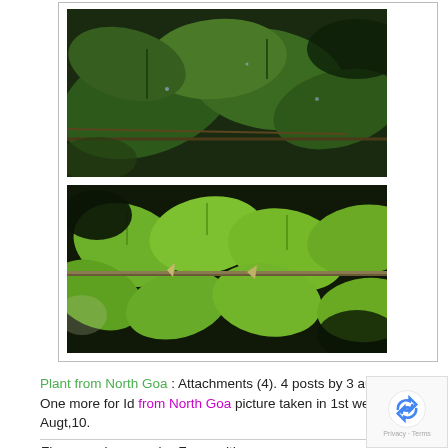[Figure (photo): Close-up photo of dark green leaves (possibly Ficus species) with stems against a natural background]
[Figure (photo): Close-up photo of bright green leaves on a stem/branch against a dark background, showing lighter green undersides]
Plant from North Goa : Attachments (4). 4 posts by 3 authors.
One more for Id from North Goa picture taken in 1st week of Augt,10.
Ficus species, may be F. parasitica.